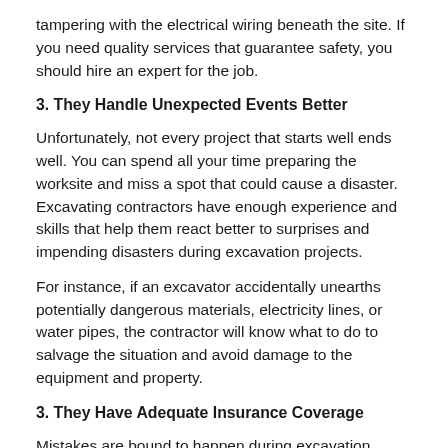tampering with the electrical wiring beneath the site. If you need quality services that guarantee safety, you should hire an expert for the job.
3. They Handle Unexpected Events Better
Unfortunately, not every project that starts well ends well. You can spend all your time preparing the worksite and miss a spot that could cause a disaster. Excavating contractors have enough experience and skills that help them react better to surprises and impending disasters during excavation projects.
For instance, if an excavator accidentally unearths potentially dangerous materials, electricity lines, or water pipes, the contractor will know what to do to salvage the situation and avoid damage to the equipment and property.
3. They Have Adequate Insurance Coverage
Mistakes are bound to happen during excavation projects. It is important to think about the aftermath of such an accident where there may be injuries and damaged property. Fortunately, reliable contractors are insured to protect you